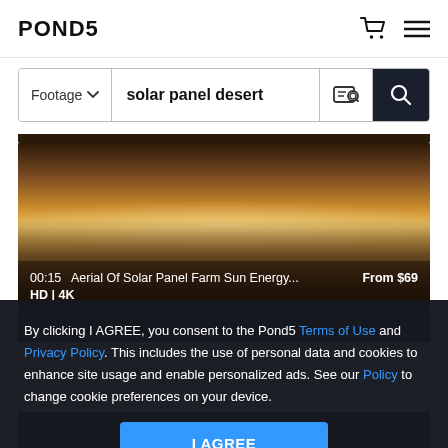POND5
Footage ∨   solar panel desert
[Figure (screenshot): Video thumbnail showing desert landscape with warm golden sky, labeled: 00:15  Aerial Of Solar Panel Farm Sun Energy...  From $69  HD | 4K]
By clicking I AGREE, you consent to the Pond5 Terms of Use and Privacy Policy. This includes the use of personal data and cookies to enhance site usage and enable personalized ads. See our Policy to change cookie preferences on your device.
I AGREE
00:12  Photovoltaic Panel In Nipton Californi...  From $79  HD | 4K